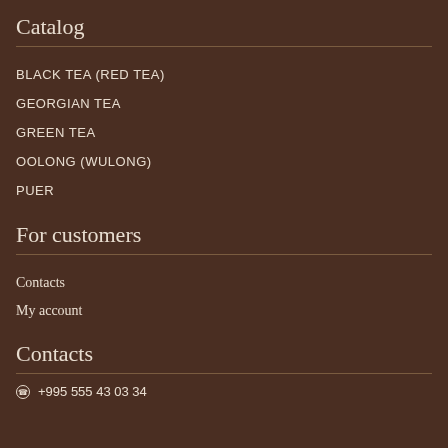Catalog
BLACK TEA (RED TEA)
GEORGIAN TEA
GREEN TEA
OOLONG (WULONG)
PUER
For customers
Contacts
My account
Contacts
+995 555 43 03 34